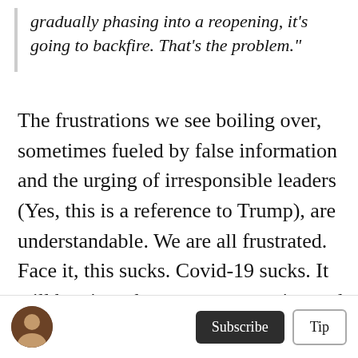gradually phasing into a reopening, it's going to backfire. That's the problem."
The frustrations we see boiling over, sometimes fueled by false information and the urging of irresponsible leaders (Yes, this is a reference to Trump), are understandable. We are all frustrated. Face it, this sucks. Covid-19 sucks. It will be nice when we get a vaccine and can truly crush this crazy virus. But that is a ways off. In the meantime, patience and sacrifice is what we need from everyone.
[Figure (photo): Circular avatar/profile photo showing a person]
Subscribe
Tip